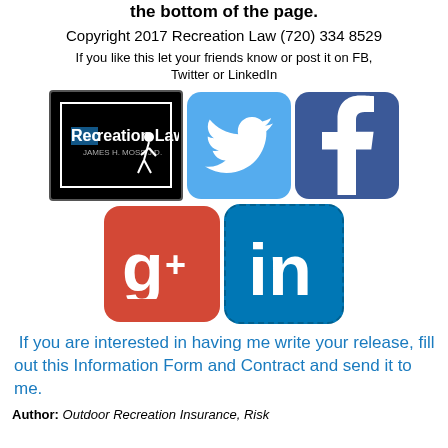the bottom of the page.
Copyright 2017 Recreation Law (720) 334 8529
If you like this let your friends know or post it on FB, Twitter or LinkedIn
[Figure (logo): Recreation Law logo - James H. Moss J.D. - black background with running figure]
[Figure (logo): Twitter social media icon - light blue rounded square with white bird]
[Figure (logo): Facebook social media icon - dark blue rounded square with white f]
[Figure (logo): Google+ social media icon - red rounded square with white g+]
[Figure (logo): LinkedIn social media icon - blue rounded square with white in]
If you are interested in having me write your release, fill out this Information Form and Contract and send it to me.
Author: Outdoor Recreation Insurance, Risk